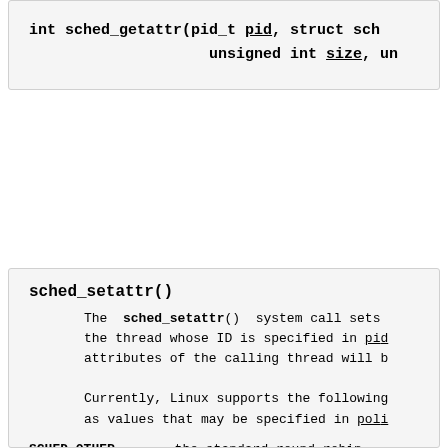int sched_getattr(pid_t pid, struct sch
                  unsigned int size, un
sched_setattr()
The sched_setattr() system call sets the thread whose ID is specified in pid attributes of the calling thread will b
Currently, Linux supports the following as values that may be specified in poli
SCHED_OTHER   the standard round-robin
SCHED_BATCH   for "batch" style executi